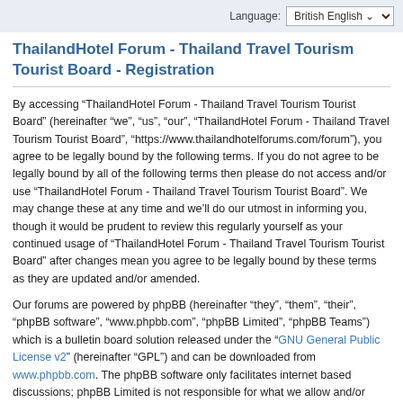Language: British English
ThailandHotel Forum - Thailand Travel Tourism Tourist Board - Registration
By accessing “ThailandHotel Forum - Thailand Travel Tourism Tourist Board” (hereinafter “we”, “us”, “our”, “ThailandHotel Forum - Thailand Travel Tourism Tourist Board”, “https://www.thailandhotelforums.com/forum”), you agree to be legally bound by the following terms. If you do not agree to be legally bound by all of the following terms then please do not access and/or use “ThailandHotel Forum - Thailand Travel Tourism Tourist Board”. We may change these at any time and we’ll do our utmost in informing you, though it would be prudent to review this regularly yourself as your continued usage of “ThailandHotel Forum - Thailand Travel Tourism Tourist Board” after changes mean you agree to be legally bound by these terms as they are updated and/or amended.
Our forums are powered by phpBB (hereinafter “they”, “them”, “their”, “phpBB software”, “www.phpbb.com”, “phpBB Limited”, “phpBB Teams”) which is a bulletin board solution released under the “GNU General Public License v2” (hereinafter “GPL”) and can be downloaded from www.phpbb.com. The phpBB software only facilitates internet based discussions; phpBB Limited is not responsible for what we allow and/or disallow as permissible content and/or conduct. For further information about phpBB, please see: https://www.phpbb.com/.